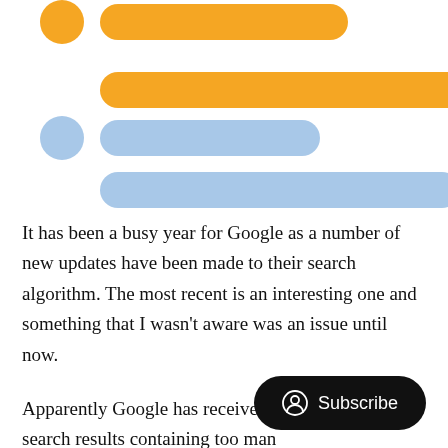[Figure (illustration): Skeleton loader placeholder graphic with orange and blue rounded bars and circles representing loading content]
It has been a busy year for Google as a number of new updates have been made to their search algorithm. The most recent is an interesting one and something that I wasn't aware was an issue until now.
Apparently Google has received complaints about search results containing too many results from the same domain name. In response, the search giant is
[Figure (other): Subscribe button overlay with person icon and text 'Subscribe' on black rounded rectangle background]